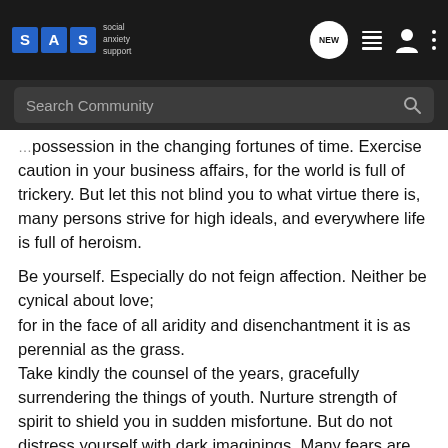SAS social anxiety support — NEW — navigation icons
Search Community
possession in the changing fortunes of time. Exercise caution in your business affairs, for the world is full of trickery. But let this not blind you to what virtue there is, many persons strive for high ideals, and everywhere life is full of heroism.
Be yourself. Especially do not feign affection. Neither be cynical about love;
for in the face of all aridity and disenchantment it is as perennial as the grass.
Take kindly the counsel of the years, gracefully surrendering the things of youth. Nurture strength of spirit to shield you in sudden misfortune. But do not distress yourself with dark imaginings. Many fears are born of fatigue and loneliness.
Beyond a wholesome discipline, be gentle with yourself.